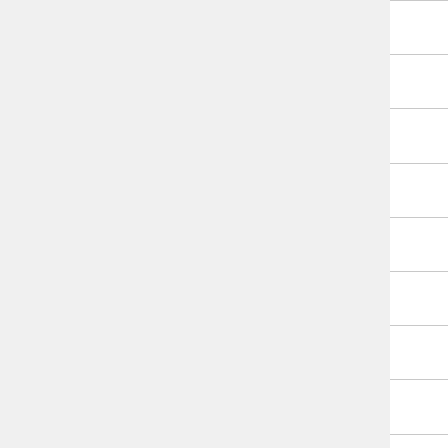| Super Karoshi | N/A | N |
| Super Mafia Land | N/A | N |
| Super Mario 63 | Yes | F |
| Super Mario Bros Crossover 3.1 (Hacked) | Yes | F |
| Super Mario Bros. Goomba Mode | Yes | F |
| Super Mario Bros. Star Scramble | Yes | F |
| Super Mario Crossover | Yes | F |
| Super Mario Flash | Yes | F |
| Super Mario Flash 2 | Yes | F |
| Super Mario Kart Xtreme | Yes | F |